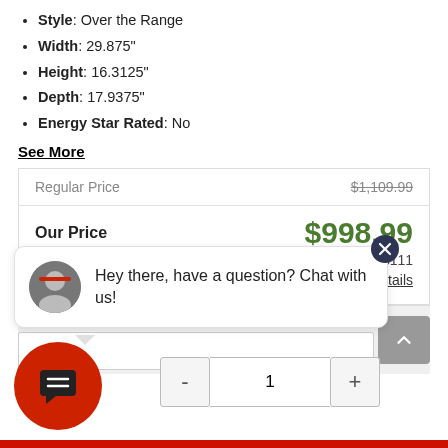Style: Over the Range
Width: 29.875"
Height: 16.3125"
Depth: 17.9375"
Energy Star Rated: No
See More
| Regular Price | $1,109.99 |
| Our Price | $998.99 |
| You Save | $111 |
| Rebate Available | See Details |
[Figure (other): Chat widget with avatar photo of employee, close button, and message: Hey there, have a question? Chat with us!]
[Figure (other): Red circular chat icon button]
[Figure (other): Scroll to top button (arrow up)]
- 1 +